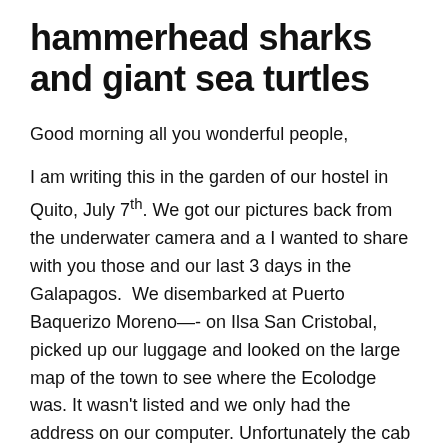hammerhead sharks and giant sea turtles
Good morning all you wonderful people,
I am writing this in the garden of our hostel in Quito, July 7th. We got our pictures back from the underwater camera and a I wanted to share with you those and our last 3 days in the Galapagos.  We disembarked at Puerto Baquerizo Moreno—- on Ilsa San Cristobal, picked up our luggage and looked on the large map of the town to see where the Ecolodge was. It wasn't listed and we only had the address on our computer. Unfortunately the cab drivers we asked didn't know of the Ecolodge, so off we went to find a cup of coffee and an internet connection.
As the heavens opened up and the rain came down we